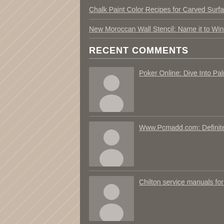Chalk Paint Color Recipes for Carved Surfaces, Part 1
New Moroccan Wall Stencil: Name it to Win it
RECENT COMMENTS
Poker Online: Dive Into Palm Beach Style with Wall Stencils | Paint Patter...
Www.Pcmadd.com: Definitely consider that that you said. Your favourite reaso...
Chilton service manuals for car: Excellent blog you have here but I was curious if you knew o...
instagram download: It was amazing reading this article and I believe you are to...